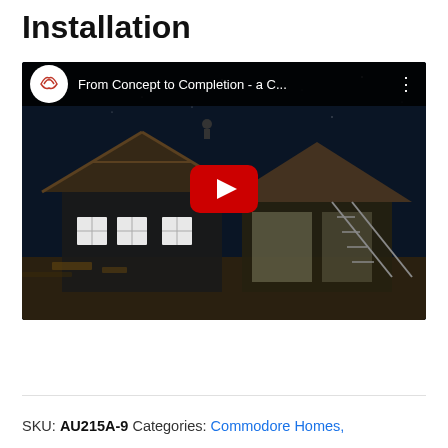Installation
[Figure (screenshot): YouTube video thumbnail showing a house under construction at night with roof being installed. Video title: 'From Concept to Completion - a C...' with Commodore Homes Indiana channel logo and YouTube play button.]
SKU: AU215A-9 Categories: Commodore Homes,